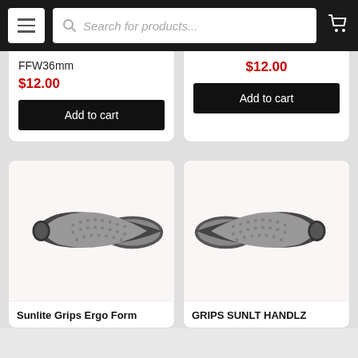Search for products...
FFW36mm
$12.00
Add to cart
$12.00
Add to cart
[Figure (photo): Ergonomic bicycle grip, black and grey, left-side view]
Sunlite Grips Ergo Form
[Figure (photo): Ergonomic bicycle grip, black and grey, right-side view]
GRIPS SUNLT HANDLZ